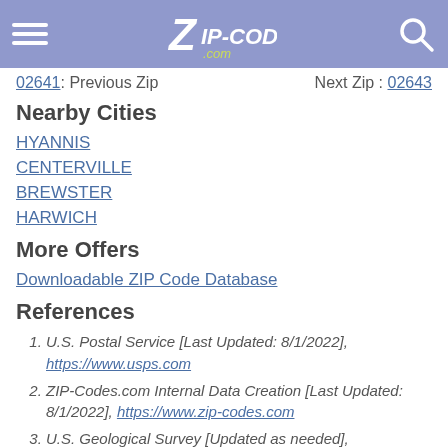ZIP-CODES.com
02641: Previous Zip   Next Zip: 02643
Nearby Cities
HYANNIS
CENTERVILLE
BREWSTER
HARWICH
More Offers
Downloadable ZIP Code Database
References
U.S. Postal Service [Last Updated: 8/1/2022], https://www.usps.com
ZIP-Codes.com Internal Data Creation [Last Updated: 8/1/2022], https://www.zip-codes.com
U.S. Geological Survey [Updated as needed], https://www.usgs.gov/